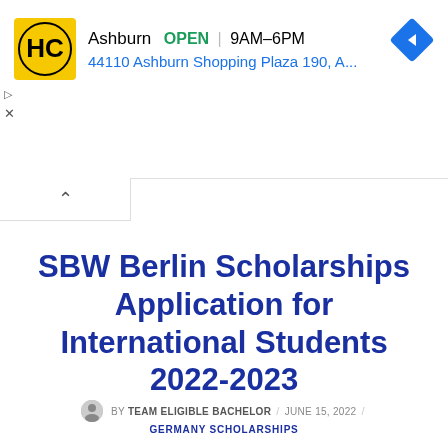[Figure (screenshot): Advertisement banner showing HC logo with yellow background, Ashburn location, OPEN status 9AM-6PM, address 44110 Ashburn Shopping Plaza 190, A..., with a blue navigation arrow icon on the right, and ad controls (play/close buttons) on the left side]
SBW Berlin Scholarships Application for International Students 2022-2023
BY TEAM ELIGIBLE BACHELOR / JUNE 15, 2022 / GERMANY SCHOLARSHIPS